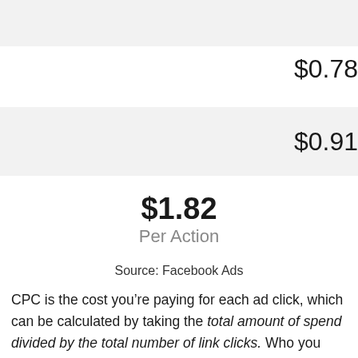| $0.78 |
| $0.91 |
$1.82
Per Action
Source: Facebook Ads
CPC is the cost you’re paying for each ad click, which can be calculated by taking the total amount of spend divided by the total number of link clicks. Who you choose to show your ads to, how people react to your ads, where your ads show on a platform, your competition, content, branding,…